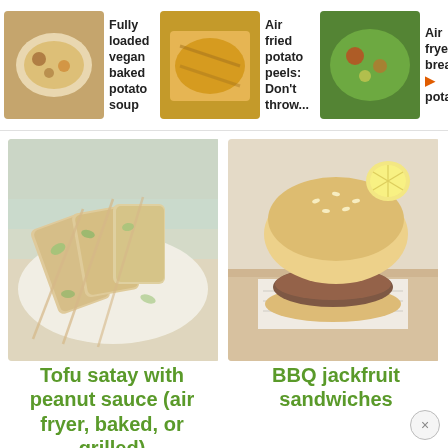[Figure (screenshot): Top navigation strip with three recipe cards: 1) Bowl of soup with image: 'Fully loaded vegan baked potato soup'; 2) Fried food image: 'Air fried potato peels: Don't throw...'; 3) Salad image: 'Air fryer breakfast potatoes']
[Figure (photo): Tofu satay skewers on a plate with cilantro garnish, light teal napkin in background]
[Figure (photo): BBQ jackfruit sandwich on a sesame bun with lemon slice on top, served on wooden board with newspaper]
Tofu satay with peanut sauce (air fryer, baked, or grilled)
BBQ jackfruit sandwiches